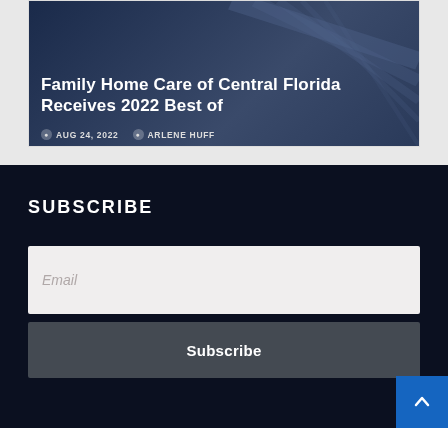[Figure (screenshot): Blog post card with dark blue background image showing title 'Family Home Care of Central Florida Receives 2022 Best of' with date AUG 24, 2022 and author ARLENE HUFF]
SUBSCRIBE
Email
Subscribe